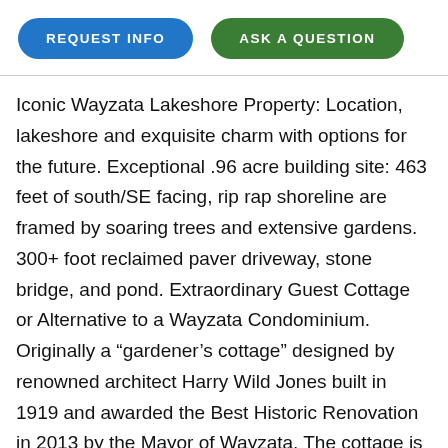[Figure (other): Two pill-shaped buttons side by side: 'REQUEST INFO' in blue and 'ASK A QUESTION' in green]
Iconic Wayzata Lakeshore Property: Location, lakeshore and exquisite charm with options for the future. Exceptional .96 acre building site: 463 feet of south/SE facing, rip rap shoreline are framed by soaring trees and extensive gardens. 300+ foot reclaimed paver driveway, stone bridge, and pond. Extraordinary Guest Cottage or Alternative to a Wayzata Condominium. Originally a “gardener’s cottage” designed by renowned architect Harry Wild Jones built in 1919 and awarded the Best Historic Renovation in 2013 by the Mayor of Wayzata. The cottage is framed by two patios: (1) the Lakeside